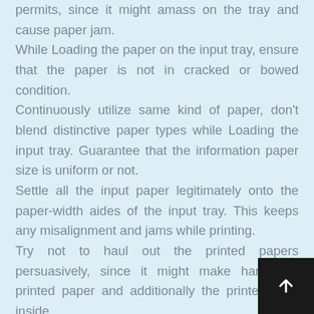permits, since it might amass on the tray and cause paper jam. While Loading the paper on the input tray, ensure that the paper is not in cracked or bowed condition. Continuously utilize same kind of paper, don't blend distinctive paper types while Loading the input tray. Guarantee that the information paper size is uniform or not. Settle all the input paper legitimately onto the paper-width aides of the input tray. This keeps any misalignment and jams while printing. Try not to haul out the printed papers persuasively, since it might make harm the printed paper and additionally the printer parts inside. Continuously turn OFF your printer before including more information papers. Abstain from Loading information tray while the printer is printing some